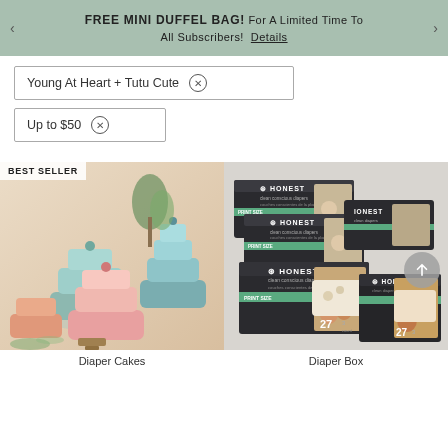FREE MINI DUFFEL BAG! For A Limited Time To All Subscribers! Details
Young At Heart + Tutu Cute ⊗
Up to $50 ⊗
[Figure (photo): Photo of multiple diaper cakes stacked in tiers, pastel blue and pink colors, arranged on a decorative table with greenery in background. BEST SELLER badge in top left corner.]
[Figure (photo): Photo of Honest brand clean conscious diaper boxes stacked, showing baby in diaper with floral pattern, quantity 27, size 3.]
Diaper Cakes
Diaper Box